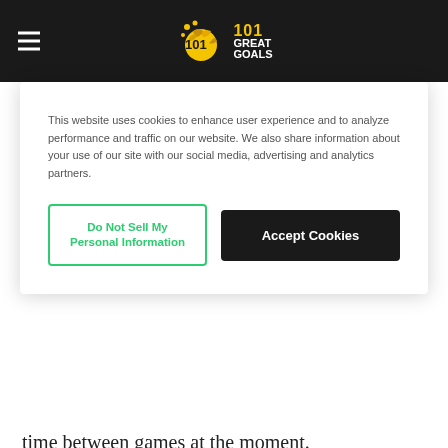101 Great Goals
This website uses cookies to enhance user experience and to analyze performance and traffic on our website. We also share information about your use of our site with our social media, advertising and analytics partners.
Do Not Sell My Personal Information | Accept Cookies
time between games at the moment.
Venezia team news
Antonio Junior Vacca was withdrawn before halftime against Juve due to injury. Luca Fiordilino will be hoping to take his place from the start here. Injuries will also rule out Tyronne Ebuehi (hamstring injury), Luca Lezzerini (patella rupture), Sergio Romero (knee surgery), and Marco Modolo (knee